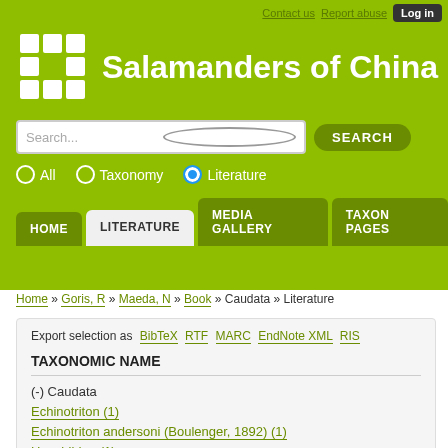Contact us  Report abuse  Log in
Salamanders of China
Search...
All  Taxonomy  Literature
HOME  LITERATURE  MEDIA GALLERY  TAXON PAGES
Home » Goris, R » Maeda, N » Book » Caudata » Literature
Export selection as  BibTeX  RTF  MARC  EndNote XML  RIS
TAXONOMIC NAME
(-) Caudata
Echinotriton (1)
Echinotriton andersoni (Boulenger, 1892) (1)
Hynobiidae (1)